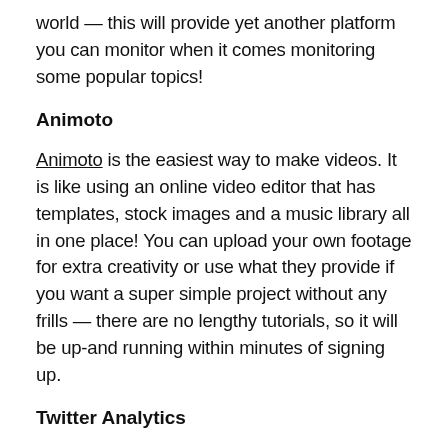world — this will provide yet another platform you can monitor when it comes monitoring some popular topics!
Animoto
Animoto is the easiest way to make videos. It is like using an online video editor that has templates, stock images and a music library all in one place! You can upload your own footage for extra creativity or use what they provide if you want a super simple project without any frills — there are no lengthy tutorials, so it will be up-and running within minutes of signing up.
Twitter Analytics
Are you looking for ways to grow your following